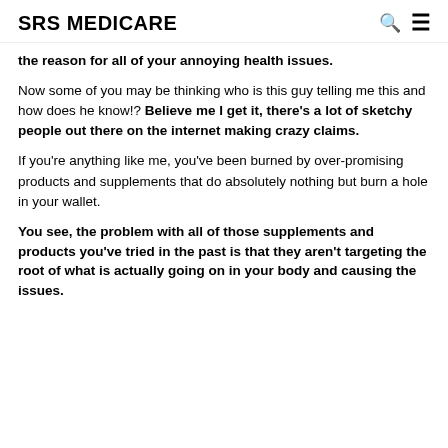SRS MEDICARE
the reason for all of your annoying health issues.
Now some of you may be thinking who is this guy telling me this and how does he know!? Believe me I get it, there's a lot of sketchy people out there on the internet making crazy claims.
If you're anything like me, you've been burned by over-promising products and supplements that do absolutely nothing but burn a hole in your wallet.
You see, the problem with all of those supplements and products you've tried in the past is that they aren't targeting the root of what is actually going on in your body and causing the issues.